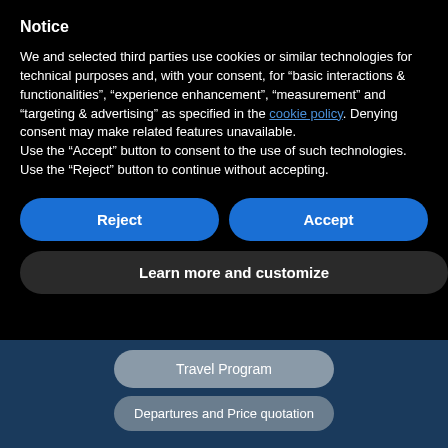Notice
We and selected third parties use cookies or similar technologies for technical purposes and, with your consent, for “basic interactions & functionalities”, “experience enhancement”, “measurement” and “targeting & advertising” as specified in the cookie policy. Denying consent may make related features unavailable.
Use the “Accept” button to consent to the use of such technologies. Use the “Reject” button to continue without accepting.
[Figure (screenshot): Two blue rounded buttons labeled Reject and Accept side by side, followed by a dark rounded button labeled Learn more and customize]
[Figure (screenshot): Dark blue background section with a grey rounded button labeled Travel Program and a partially visible grey rounded button labeled Departures and Price quotation]